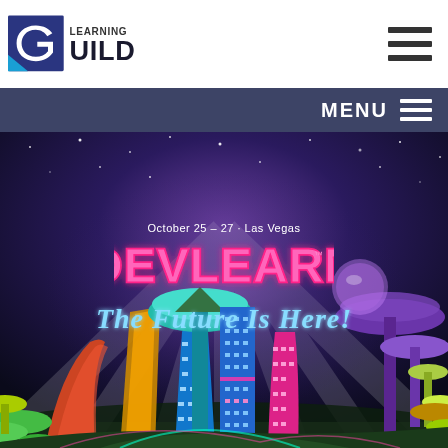[Figure (logo): Learning Guild logo with stylized G icon and text LEARNING GUILD]
MENU
[Figure (illustration): DevLearn conference promotional banner showing a futuristic neon cityscape at night with glowing buildings, mushroom-like structures, and colorful sci-fi architecture against a starry purple-blue sky]
October 25 – 27 · Las Vegas
DEVLEARN™
The Future Is Here!